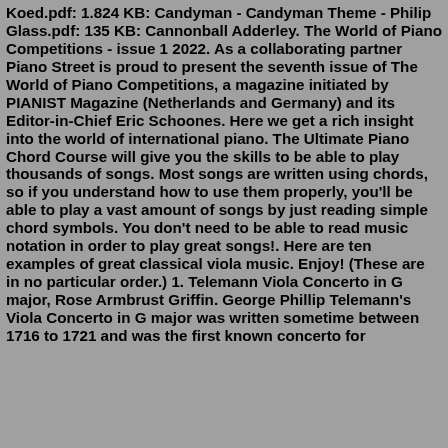Koed.pdf: 1.824 KB: Candyman - Candyman Theme - Philip Glass.pdf: 135 KB: Cannonball Adderley. The World of Piano Competitions - issue 1 2022. As a collaborating partner Piano Street is proud to present the seventh issue of The World of Piano Competitions, a magazine initiated by PIANIST Magazine (Netherlands and Germany) and its Editor-in-Chief Eric Schoones. Here we get a rich insight into the world of international piano. The Ultimate Piano Chord Course will give you the skills to be able to play thousands of songs. Most songs are written using chords, so if you understand how to use them properly, you'll be able to play a vast amount of songs by just reading simple chord symbols. You don't need to be able to read music notation in order to play great songs!. Here are ten examples of great classical viola music. Enjoy! (These are in no particular order.) 1. Telemann Viola Concerto in G major, Rose Armbrust Griffin. George Phillip Telemann's Viola Concerto in G major was written sometime between 1716 to 1721 and was the first known concerto for